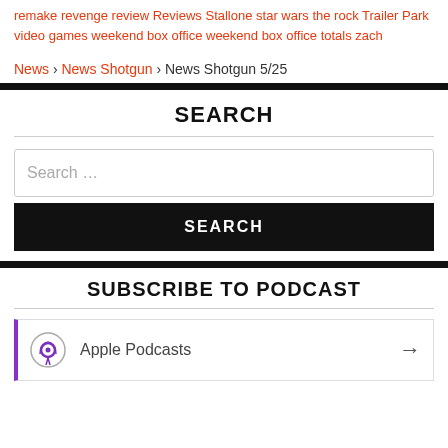remake revenge review Reviews Stallone star wars the rock Trailer Park video games weekend box office weekend box office totals zach
News › News Shotgun › News Shotgun 5/25
SEARCH
Search …
SEARCH
SUBSCRIBE TO PODCAST
Apple Podcasts